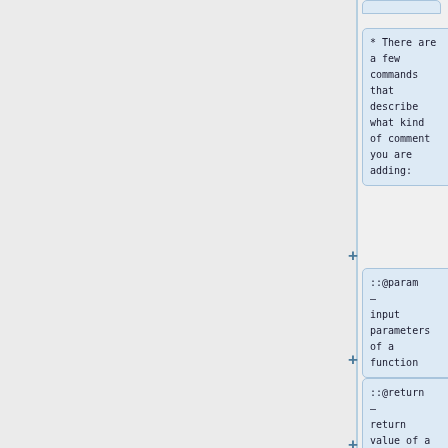* There are a few commands that describe what kind of comment you are adding:
::@param &mdash; input parameters of a function
::@return &mdash; return value of a